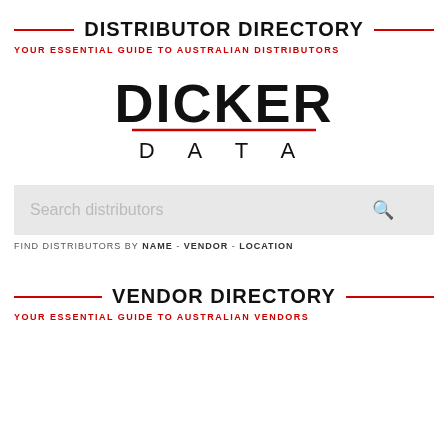DISTRIBUTOR DIRECTORY
YOUR ESSENTIAL GUIDE TO AUSTRALIAN DISTRIBUTORS
[Figure (logo): Dicker Data logo — large bold 'DICKER' text above a red underline, then 'D A T A' in spaced capitals below]
Search distributors
FIND DISTRIBUTORS BY NAME - VENDOR - LOCATION
VENDOR DIRECTORY
YOUR ESSENTIAL GUIDE TO AUSTRALIAN VENDORS